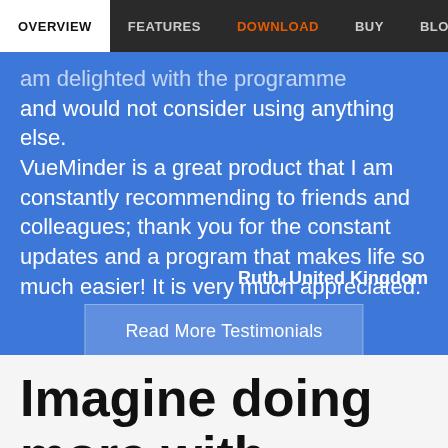OVERVIEW | FEATURES | DOWNLOAD | BUY | BLOG | SU
...am delighted with the programme and would not consider using anything else. VueMinder is a great product that I am constantly recommending to friends and colleagues; thank you for the constant updates and a program that makes life so much easier! It is very much appreciated.
Ruth, United Kingdom
Read More Testimonials
Imagine doing more with